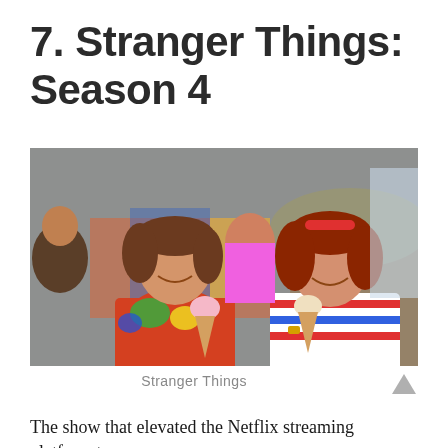7. Stranger Things: Season 4
[Figure (photo): Two teenage girls sitting on a bus smiling and holding ice cream cones, surrounded by a crowd of people in colorful 1980s-style clothing.]
Stranger Things
The show that elevated the Netflix streaming platform to